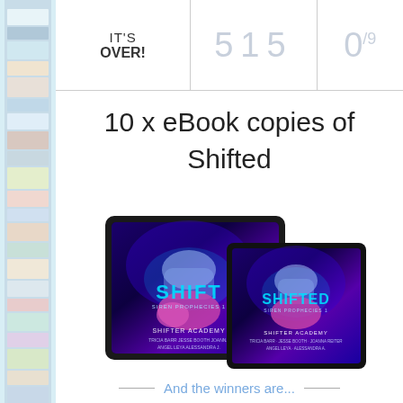| IT'S OVER! | 5 1 5 | 0/9 |
| --- | --- | --- |
|  |
10 x eBook copies of Shifted
[Figure (photo): Two tablet devices showing the cover of 'Shifted' — Shifter Academy book. The cover features a couple in a fantasy/supernatural scene with purple and blue energy effects. The title SHIFTED is displayed prominently with SIREN PROPHECIES subtitle and SHIFTER ACADEMY with author names including Tricia Barr, Jesse Booth, Joanna Reiter, Angel Leya, Alessandra.]
And the winners are...